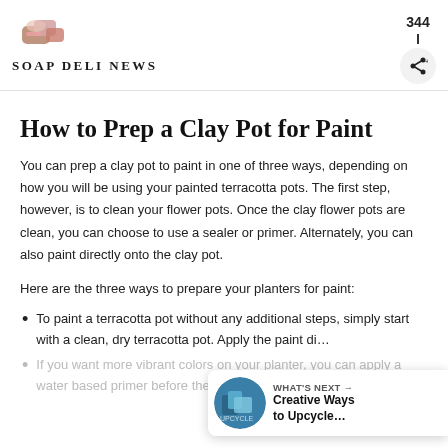Soap Deli News
How to Prep a Clay Pot for Paint
You can prep a clay pot to paint in one of three ways, depending on how you will be using your painted terracotta pots. The first step, however, is to clean your flower pots. Once the clay flower pots are clean, you can choose to use a sealer or primer. Alternately, you can also paint directly onto the clay pot.
Here are the three ways to prepare your planters for paint:
To paint a terracotta pot without any additional steps, simply start with a clean, dry terracotta pot. Apply the paint di…
If you want more vibrant colors on your planter, you can apply a water based primer before the paint. This will help your colors
[Figure (other): What's Next widget showing 'Creative Ways to Upcycle...' with a teal thumbnail]